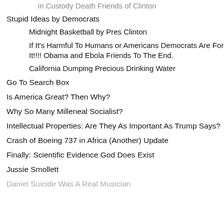In Custody Death Friends of Clinton
Stupid Ideas by Democrats
Midnight Basketball by Pres Clinton
If It's Harmful To Humans or Americans Democrats Are For It!!!! Obama and Ebola Friends To The End.
California Dumping Precious Drinking Water
Go To Search Box
Is America Great? Then Why?
Why So Many Milleneal Socialist?
Intellectual Properties: Are They As Important As Trump Says?
Crash of Boeing 737 in Africa (Another) Update
Finally: Scientific Evidence God Does Exist
Jussie Smollett
Daniel Suicide Was A Real Musician